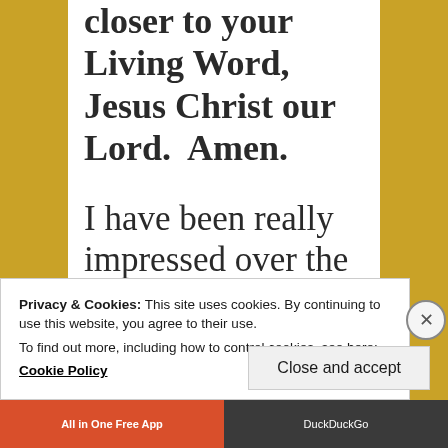closer to your Living Word, Jesus Christ our Lord.  Amen.
I have been really impressed over the last couple of months to see
Privacy & Cookies: This site uses cookies. By continuing to use this website, you agree to their use.
To find out more, including how to control cookies, see here:
Cookie Policy
Close and accept